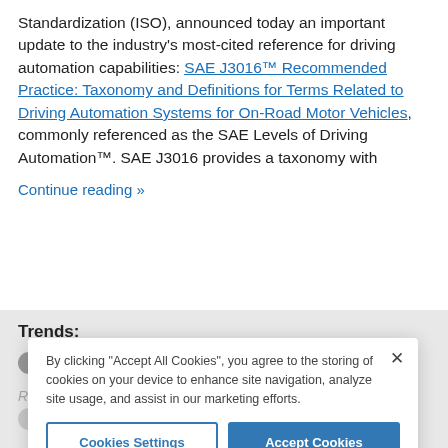Standardization (ISO), announced today an important update to the industry's most-cited reference for driving automation capabilities: SAE J3016™ Recommended Practice: Taxonomy and Definitions for Terms Related to Driving Automation Systems for On-Road Motor Vehicles, commonly referenced as the SAE Levels of Driving Automation™. SAE J3016 provides a taxonomy with
Continue reading »
Trends:
AUTONOMOUS
Related
STANDARDS    AUTOMOTIVE
By clicking "Accept All Cookies", you agree to the storing of cookies on your device to enhance site navigation, analyze site usage, and assist in our marketing efforts.
Cookies Settings
Accept Cookies